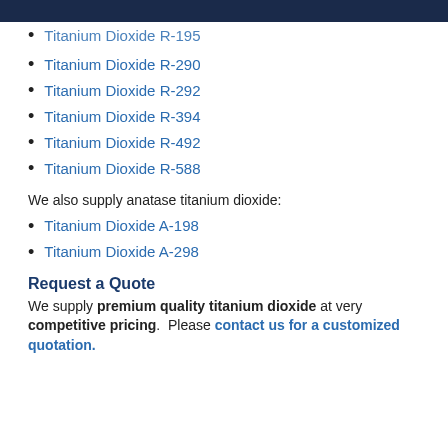BHO MY XWBKJCY
Titanium Dioxide R-195
Titanium Dioxide R-290
Titanium Dioxide R-292
Titanium Dioxide R-394
Titanium Dioxide R-492
Titanium Dioxide R-588
We also supply anatase titanium dioxide:
Titanium Dioxide A-198
Titanium Dioxide A-298
Request a Quote
We supply premium quality titanium dioxide at very competitive pricing.  Please contact us for a customized quotation.